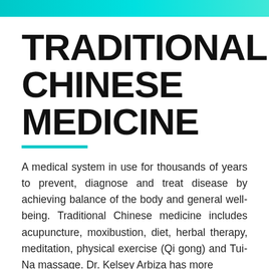TRADITIONAL CHINESE MEDICINE
A medical system in use for thousands of years to prevent, diagnose and treat disease by achieving balance of the body and general well-being. Traditional Chinese medicine includes acupuncture, moxibustion, diet, herbal therapy, meditation, physical exercise (Qi gong) and Tui-Na massage. Dr. Kelsey Arbiza has more